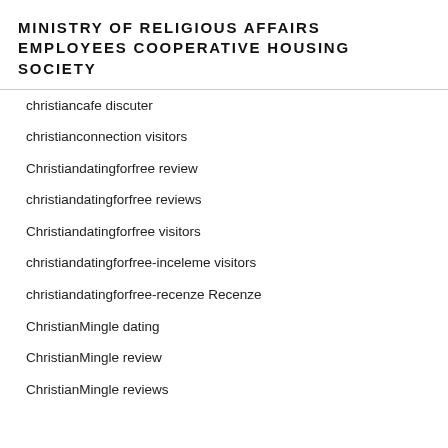MINISTRY OF RELIGIOUS AFFAIRS EMPLOYEES COOPERATIVE HOUSING SOCIETY
christiancafe discuter
christianconnection visitors
Christiandatingforfree review
christiandatingforfree reviews
Christiandatingforfree visitors
christiandatingforfree-inceleme visitors
christiandatingforfree-recenze Recenze
ChristianMingle dating
ChristianMingle review
ChristianMingle reviews